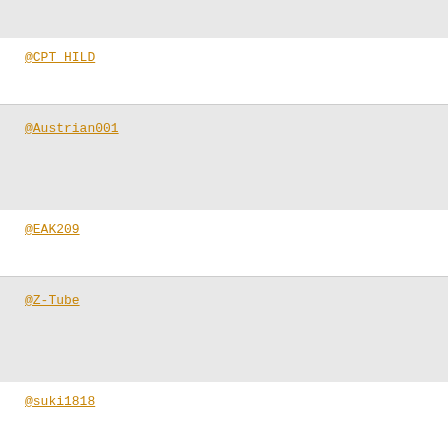@CPT_HILD
@Austrian001
@EAK209
@Z-Tube
@suki1818